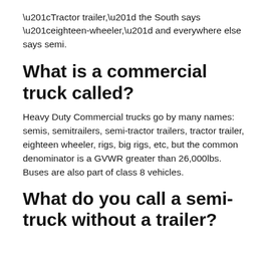“Tractor trailer,” the South says “eighteen-wheeler,” and everywhere else says semi.
What is a commercial truck called?
Heavy Duty Commercial trucks go by many names: semis, semitrailers, semi-tractor trailers, tractor trailer, eighteen wheeler, rigs, big rigs, etc, but the common denominator is a GVWR greater than 26,000lbs. Buses are also part of class 8 vehicles.
What do you call a semi-truck without a trailer?